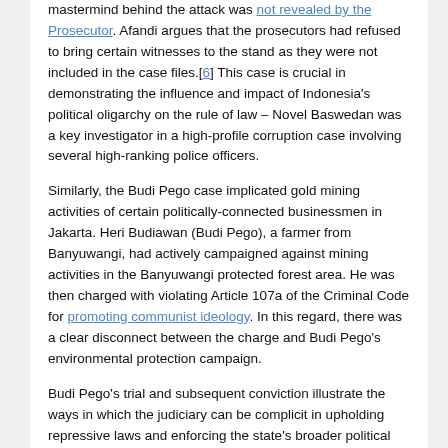mastermind behind the attack was not revealed by the Prosecutor. Afandi argues that the prosecutors had refused to bring certain witnesses to the stand as they were not included in the case files.[6] This case is crucial in demonstrating the influence and impact of Indonesia's political oligarchy on the rule of law – Novel Baswedan was a key investigator in a high-profile corruption case involving several high-ranking police officers.
Similarly, the Budi Pego case implicated gold mining activities of certain politically-connected businessmen in Jakarta. Heri Budiawan (Budi Pego), a farmer from Banyuwangi, had actively campaigned against mining activities in the Banyuwangi protected forest area. He was then charged with violating Article 107a of the Criminal Code for promoting communist ideology. In this regard, there was a clear disconnect between the charge and Budi Pego's environmental protection campaign.
Budi Pego's trial and subsequent conviction illustrate the ways in which the judiciary can be complicit in upholding repressive laws and enforcing the state's broader political agenda. Crucially, this case also highlights the significance of local socio-political contexts in shaping legal and judicial